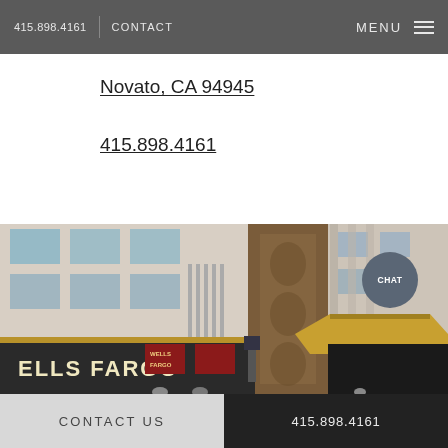415.898.4161 | CONTACT   MENU
Novato, CA 94945
415.898.4161
[Figure (photo): Street-level exterior photo of a Wells Fargo bank branch with Art Deco architectural details, ornate golden facade, and a canopied entrance.]
CONTACT US   415.898.4161